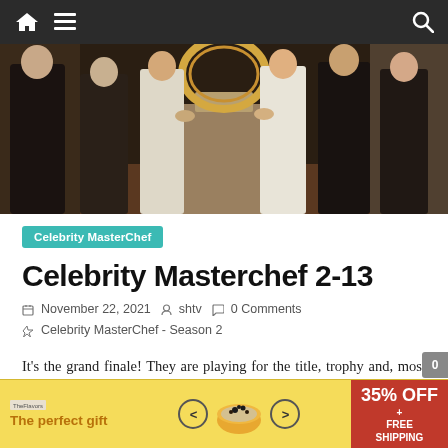Navigation bar with home, menu, and search icons
[Figure (photo): Group of people standing around a large golden trophy in a dark interior setting]
Celebrity MasterChef
Celebrity Masterchef 2-13
November 22, 2021   shtv   0 Comments   Celebrity MasterChef - Season 2
It's the grand finale! They are playing for the title, trophy and, most importantly, $100,000 for their charity. The dish that will seal their fate is set by culinary legend, Martin Benn.
[Figure (infographic): Advertisement banner: The perfect gift, 35% OFF + FREE SHIPPING]